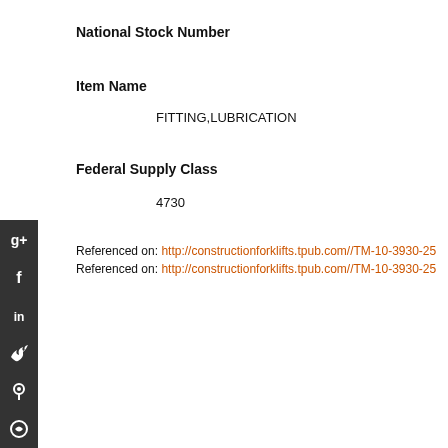National Stock Number
Item Name
FITTING,LUBRICATION
Federal Supply Class
4730
Referenced on: http://constructionforklifts.tpub.com//TM-10-3930-25
Referenced on: http://constructionforklifts.tpub.com//TM-10-3930-25